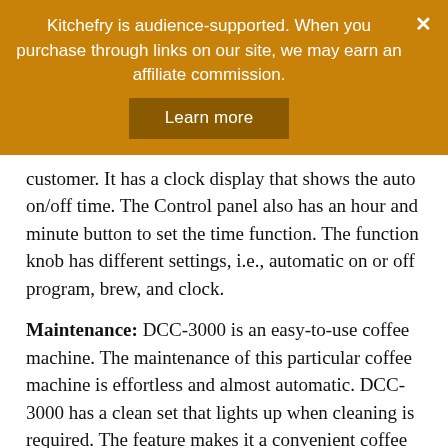Kitchefry is audience-supported. When you purchase through links on our site, we may earn an affiliate commission.
customer. It has a clock display that shows the auto on/off time. The Control panel also has an hour and minute button to set the time function. The function knob has different settings, i.e., automatic on or off program, brew, and clock.
Maintenance: DCC-3000 is an easy-to-use coffee machine. The maintenance of this particular coffee machine is effortless and almost automatic. DCC-3000 has a clean set that lights up when cleaning is required. The feature makes it a convenient coffee maker as it saves a lot of time.
Design and Quality: Design-wise, DCC-3000 is a rigid and solid machine. Metal and plastic electronics are used in the production of the